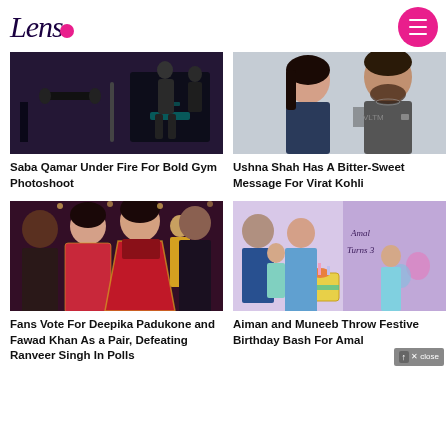Lens
[Figure (photo): Gym photoshoot scene with dark lighting and exercise equipment]
Saba Qamar Under Fire For Bold Gym Photoshoot
[Figure (photo): Two people in casual clothes, man with beard and woman with dark hair]
Ushna Shah Has A Bitter-Sweet Message For Virat Kohli
[Figure (photo): Group of people at a formal event, woman in red bridal lehenga]
Fans Vote For Deepika Padukone and Fawad Khan As a Pair, Defeating Ranveer Singh In Polls
[Figure (photo): Birthday party scene with cake and children, banner reads Amal Turns 3]
Aiman and Muneeb Throw Festive Birthday Bash For Amal